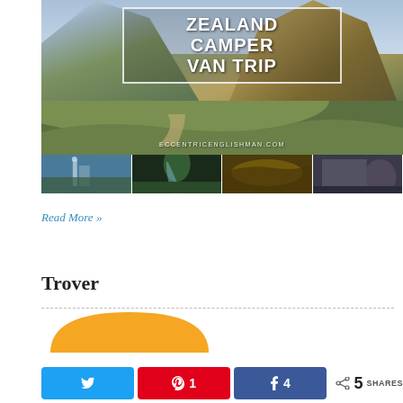[Figure (photo): Hero image of New Zealand landscape with snow-capped mountains, green hills, and a dirt path. Overlaid white text reads 'ZEALAND CAMPER VAN TRIP' inside a white border box, with website URL 'ECCENTRICENGLISHMAN.COM' below.]
[Figure (photo): Thumbnail strip of four travel photos: city skyline with tower, green forest waterfall, dramatic yellow sky/clouds, and a statue near a building.]
Read More »
Trover
[Figure (logo): Trover logo showing a yellow rounded arc/dome shape — partial logo image.]
N 1 4 5 SHARES